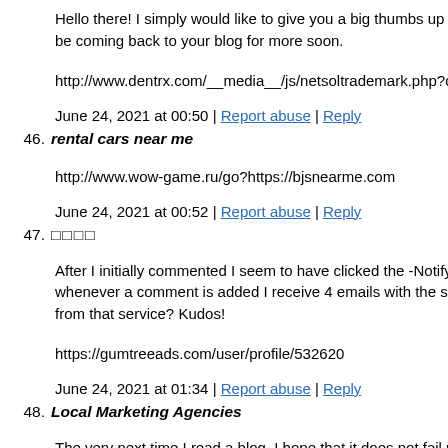Hello there! I simply would like to give you a big thumbs up for be coming back to your blog for more soon.
http://www.dentrx.com/__media__/js/netsoltrademark.php?d=
June 24, 2021 at 00:50 | Report abuse | Reply
46. rental cars near me
http://www.wow-game.ru/go?https://bjsnearme.com
June 24, 2021 at 00:52 | Report abuse | Reply
47.     
After I initially commented I seem to have clicked the -Notify whenever a comment is added I receive 4 emails with the same from that service? Kudos!
https://gumtreeads.com/user/profile/532620
June 24, 2021 at 01:34 | Report abuse | Reply
48. Local Marketing Agencies
The very next time I read a blog, I hope that it does not fail me to read through, however I truly believed you would have som about something that you can fix if you were not too busy seek